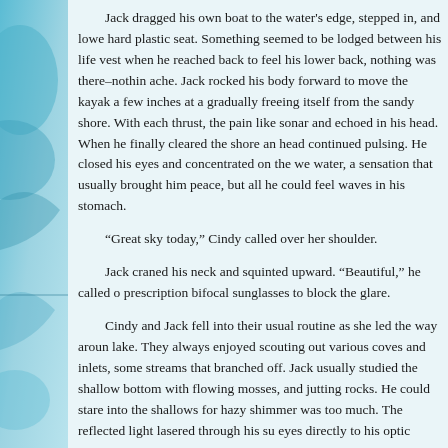Jack dragged his own boat to the water's edge, stepped in, and lowe hard plastic seat. Something seemed to be lodged between his life vest when he reached back to feel his lower back, nothing was there–nothin ache. Jack rocked his body forward to move the kayak a few inches at a gradually freeing itself from the sandy shore. With each thrust, the pain like sonar and echoed in his head. When he finally cleared the shore an head continued pulsing. He closed his eyes and concentrated on the we water, a sensation that usually brought him peace, but all he could feel waves in his stomach.
“Great sky today,” Cindy called over her shoulder.
Jack craned his neck and squinted upward. “Beautiful,” he called o prescription bifocal sunglasses to block the glare.
Cindy and Jack fell into their usual routine as she led the way aroun lake. They always enjoyed scouting out various coves and inlets, some streams that branched off. Jack usually studied the shallow bottom with flowing mosses, and jutting rocks. He could stare into the shallows for hazy shimmer was too much. The reflected light lasered through his su eyes directly to his optic nerve.
The bicycle...